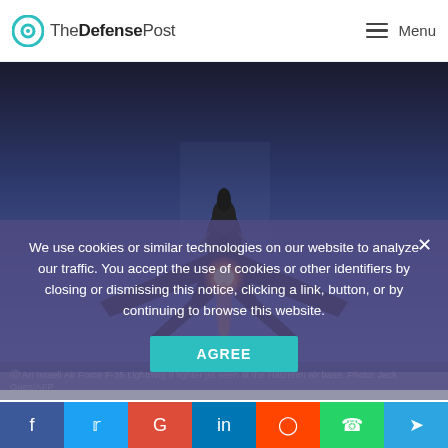The Defense Post — Menu
[Figure (photo): An Israeli Air Force F-35 Lightning II fighter jet seen from below at night, with afterburner glowing orange, flying against a dark blue sky at the Hatzerim air base.]
An Israeli Air Force F-35 Lightning II fighter jet seen at the Hatzerim air base. Photo: Jack Guez/AFP
We use cookies or similar technologies on our website to analyze our traffic. You accept the use of cookies or other identifiers by closing or dismissing this notice, clicking a link, button, or by continuing to browse this website.
AGREE
Home / Middle East